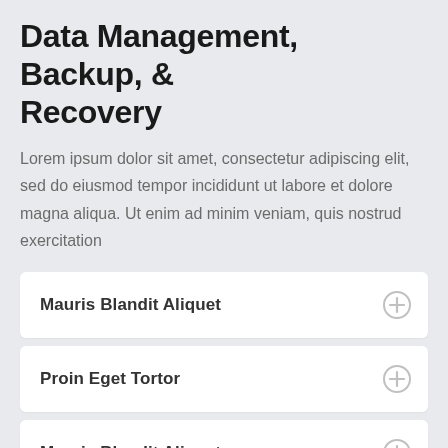Data Management, Backup, & Recovery
Lorem ipsum dolor sit amet, consectetur adipiscing elit, sed do eiusmod tempor incididunt ut labore et dolore magna aliqua. Ut enim ad minim veniam, quis nostrud exercitation
Mauris Blandit Aliquet
Proin Eget Tortor
Mauris Blandit Aliquet